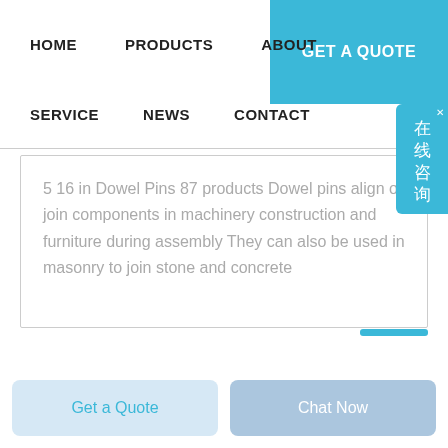HOME   PRODUCTS   ABOUT   GET A QUOTE   SERVICE   NEWS   CONTACT
5 16 in Dowel Pins 87 products Dowel pins align or join components in machinery construction and furniture during assembly They can also be used in masonry to join stone and concrete
Get a Quote   Chat Now